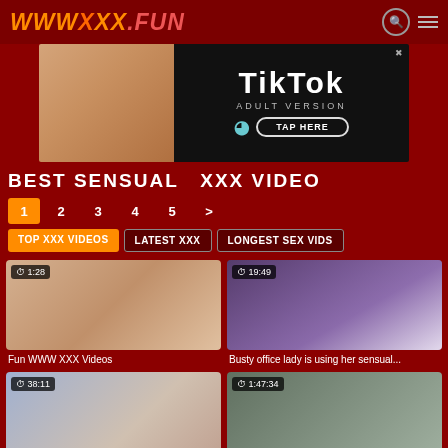WWW XXX .FUN
[Figure (screenshot): TikTok Adult Version advertisement banner with TAP HERE button]
BEST SENSUAL  XXX VIDEO
1 2 3 4 5 >
TOP XXX VIDEOS | LATEST XXX | LONGEST SEX VIDS
[Figure (screenshot): Video thumbnail with duration 1:28, titled Fun WWW XXX Videos]
Fun WWW XXX Videos
[Figure (screenshot): Video thumbnail with duration 19:49, titled Busty office lady is using her sensual...]
Busty office lady is using her sensual...
[Figure (screenshot): Video thumbnail with duration 38:11]
[Figure (screenshot): Video thumbnail with duration 1:47:34]